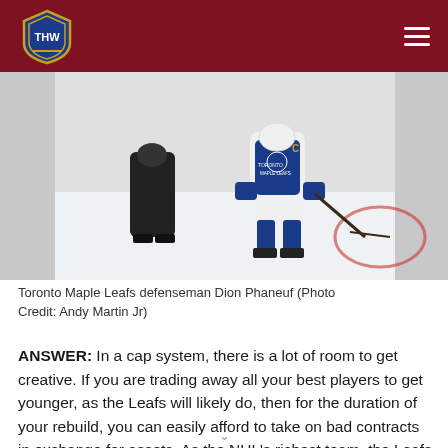THW (The Hockey Writers)
[Figure (photo): Toronto Maple Leafs defenseman Dion Phaneuf on ice during a game, wearing blue and white Maple Leafs uniform, crouching near the puck.]
Toronto Maple Leafs defenseman Dion Phaneuf (Photo Credit: Andy Martin Jr)
ANSWER: In a cap system, there is a lot of room to get creative. If you are trading away all your best players to get younger, as the Leafs will likely do, then for the duration of your rebuild, you can easily afford to take on bad contracts in exchange for assets. As the NHL's richest team, the Leafs will definitely be looking to make these kind of moves.  Not self-